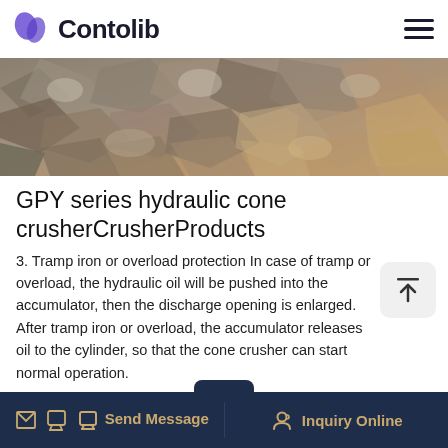Contolib
[Figure (photo): Crushed rocks and stone aggregate — hero image for GPY series hydraulic cone crusher product page]
GPY series hydraulic cone crusherCrusherProducts
3. Tramp iron or overload protection In case of tramp or overload, the hydraulic oil will be pushed into the accumulator, then the discharge opening is enlarged. After tramp iron or overload, the accumulator releases oil to the cylinder, so that the cone crusher can start normal operation.
Send Message  Inquiry Online